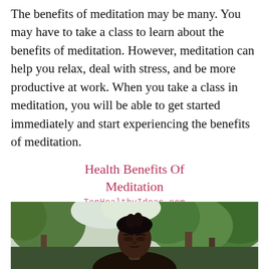The benefits of meditation may be many. You may have to take a class to learn about the benefits of meditation. However, meditation can help you relax, deal with stress, and be more productive at work. When you take a class in meditation, you will be able to get started immediately and start experiencing the benefits of meditation.
Health Benefits Of Meditation
TopHealthyIdeas.com
[Figure (photo): A person with braided hair meditating outdoors with eyes closed, trees and greenery visible in the background]